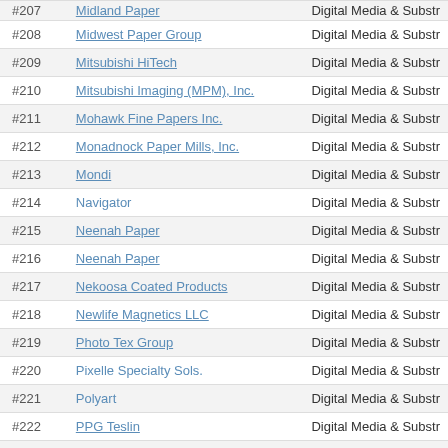| # | Name | Category |
| --- | --- | --- |
| #207 | Midland Paper | Digital Media & Substr... |
| #208 | Midwest Paper Group | Digital Media & Substr... |
| #209 | Mitsubishi HiTech | Digital Media & Substr... |
| #210 | Mitsubishi Imaging (MPM), Inc. | Digital Media & Substr... |
| #211 | Mohawk Fine Papers Inc. | Digital Media & Substr... |
| #212 | Monadnock Paper Mills, Inc. | Digital Media & Substr... |
| #213 | Mondi | Digital Media & Substr... |
| #214 | Navigator | Digital Media & Substr... |
| #215 | Neenah Paper | Digital Media & Substr... |
| #216 | Neenah Paper | Digital Media & Substr... |
| #217 | Nekoosa Coated Products | Digital Media & Substr... |
| #218 | Newlife Magnetics LLC | Digital Media & Substr... |
| #219 | Photo Tex Group | Digital Media & Substr... |
| #220 | Pixelle Specialty Sols. | Digital Media & Substr... |
| #221 | Polyart | Digital Media & Substr... |
| #222 | PPG Teslin | Digital Media & Substr... |
| #223 | Protac | Digital Media & Substr... |